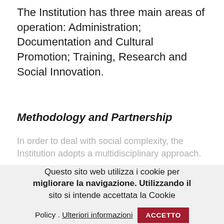The Institution has three main areas of operation: Administration; Documentation and Cultural Promotion; Training, Research and Social Innovation.
Methodology and Partnership
In order to deal with social complexity, the Institution adopts a multidisciplinary approach. The Institution structures its activities to ensure the interdependence of the research, training and dissemination processes. The Institution promotes a constant connection between research and its practical applications. Its aim is to support planning and project actions within organisations and to promote the development of inter-institutional links at network level.
Questo sito web utilizza i cookie per migliorare la navigazione. Utilizzando il sito si intende accettata la Cookie Policy. Ulteriori informazioni ACCETTO